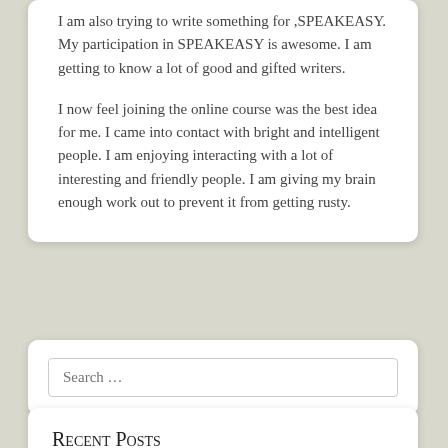I am also trying to write something for ,SPEAKEASY. My participation in SPEAKEASY is awesome. I am getting to know a lot of good and gifted writers.
I now feel joining the online course was the best idea for me.  I came into contact with bright and intelligent people. I am enjoying interacting with a lot of interesting and friendly people. I am giving my brain enough work out to prevent it from getting rusty.
Search …
Recent Posts